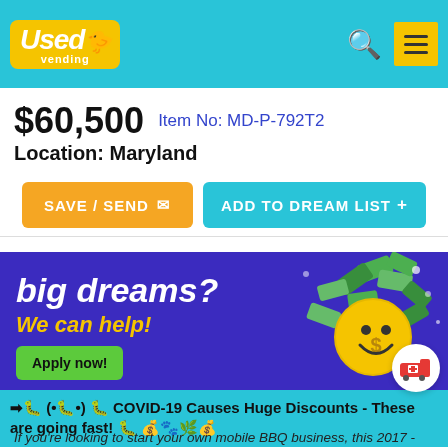Used Vending
$60,500  Item No: MD-P-792T2
Location: Maryland
SAVE / SEND   ADD TO DREAM LIST +
[Figure (screenshot): Promotional banner: big dreams? We can help! Apply now! with cartoon emoji and cash graphics on purple background]
→ 🐝 (•🐝•) 🐝 COVID-19 Causes Huge Discounts - These are going fast! 🐝 💰🐾🌿💰
If you're looking to start your own mobile BBQ business, this 2017 - 8.5' x 24' barbecue food trailer may be the perfect fit for you! This BBQ trailer features a 8' screened porch and